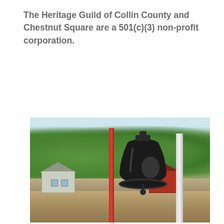The Heritage Guild of Collin County and Chestnut Square are a 501(c)(3) non-profit corporation.
[Figure (photo): Outdoor photograph showing a large black bell mounted on a red post in the foreground, with a white structural post to the right, green trees in the background, a historic white house visible to the left, and a red barn structure in the mid-ground. The scene appears to be a historic outdoor museum or heritage site.]